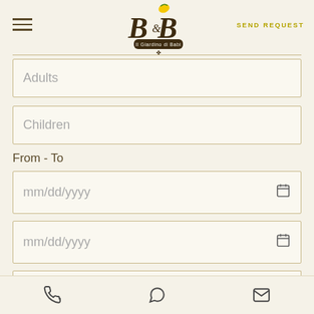[Figure (logo): B&B Il Giardino di Babi logo with stylized letters and lemon]
SEND REQUEST
Adults
Children
From - To
mm/dd/yyyy
mm/dd/yyyy
Phone | WhatsApp | Email icons